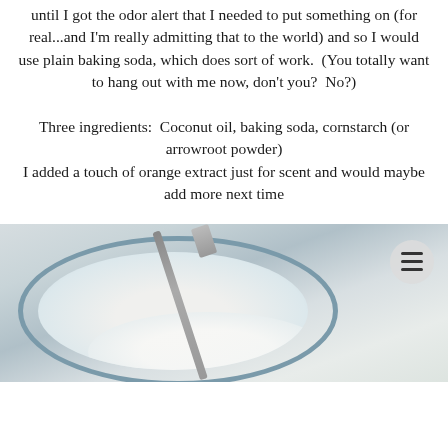until I got the odor alert that I needed to put something on (for real...and I'm really admitting that to the world) and so I would use plain baking soda, which does sort of work.  (You totally want to hang out with me now, don't you?  No?)
Three ingredients:  Coconut oil, baking soda, cornstarch (or arrowroot powder)
I added a touch of orange extract just for scent and would maybe add more next time
[Figure (photo): Photo of a glass bowl containing white mixture (likely coconut oil and baking soda/cornstarch mixture being mixed together), with a metal spatula or spreader in the bowl. Background is a light gray/green surface.]